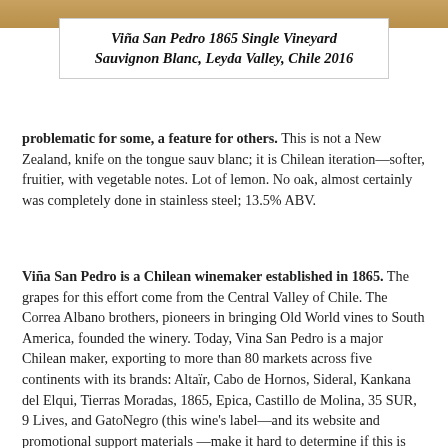[Figure (photo): Top portion of a wine bottle image, cropped at the top of the page]
Viña San Pedro 1865 Single Vineyard Sauvignon Blanc, Leyda Valley, Chile 2016
problematic for some, a feature for others. This is not a New Zealand, knife on the tongue sauv blanc; it is Chilean iteration—softer, fruitier, with vegetable notes. Lot of lemon. No oak, almost certainly was completely done in stainless steel; 13.5% ABV.
Viña San Pedro is a Chilean winemaker established in 1865. The grapes for this effort come from the Central Valley of Chile. The Correa Albano brothers, pioneers in bringing Old World vines to South America, founded the winery. Today, Vina San Pedro is a major Chilean maker, exporting to more than 80 markets across five continents with its brands: Altaïr, Cabo de Hornos, Sideral, Kankana del Elqui, Tierras Moradas, 1865, Epica, Castillo de Molina, 35 SUR, 9 Lives, and GatoNegro (this wine's label—and its website and promotional support materials —make it hard to determine if this is one word or two, but it